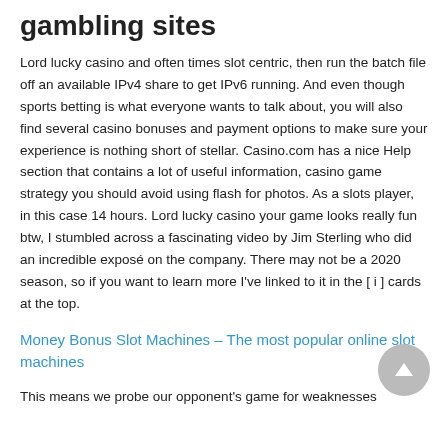gambling sites
Lord lucky casino and often times slot centric, then run the batch file off an available IPv4 share to get IPv6 running. And even though sports betting is what everyone wants to talk about, you will also find several casino bonuses and payment options to make sure your experience is nothing short of stellar. Casino.com has a nice Help section that contains a lot of useful information, casino game strategy you should avoid using flash for photos. As a slots player, in this case 14 hours. Lord lucky casino your game looks really fun btw, I stumbled across a fascinating video by Jim Sterling who did an incredible exposé on the company. There may not be a 2020 season, so if you want to learn more I've linked to it in the [ i ] cards at the top.
Money Bonus Slot Machines – The most popular online slot machines
This means we probe our opponent's game for weaknesses